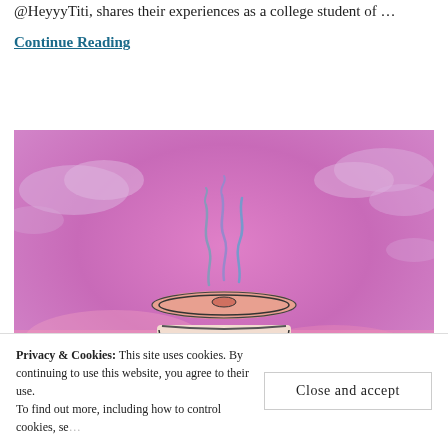@HeyyyTiti, shares their experiences as a college student of …
Continue Reading
[Figure (illustration): Illustration of a to-go coffee cup with steam rising from the lid, set against a pink and purple cloudy sky background. White bold text at the bottom reads 'INTERSECTIONAL CONVERSATIONS'.]
Privacy & Cookies: This site uses cookies. By continuing to use this website, you agree to their use. To find out more, including how to control cookies, se…
Close and accept